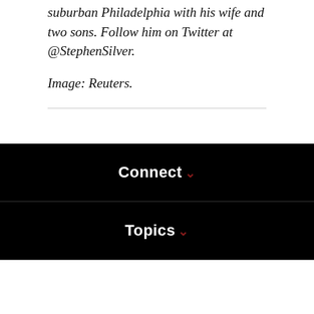suburban Philadelphia with his wife and two sons. Follow him on Twitter at @StephenSilver.
Image: Reuters.
Connect
Topics